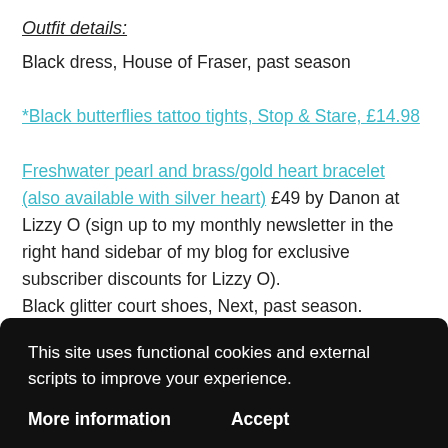Outfit details:
Black dress, House of Fraser, past season
*Black butterflies tattoo tights, Stop & Stare, £14.98
Freshwater pearl and brass/gold heart bracelet (also available with silver heart) £49 by Danon at Lizzy O (sign up to my monthly newsletter in the right hand sidebar of my blog for exclusive subscriber discounts for Lizzy O).
Black glitter court shoes, Next, past season.
Please follow me on Instagram and Facebook for more.
This site uses functional cookies and external scripts to improve your experience.
More information   Accept